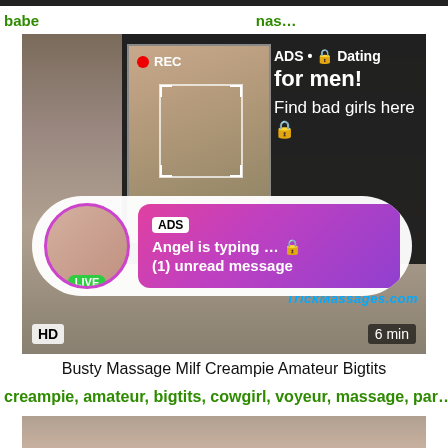[Figure (screenshot): Adult content website screenshot with video thumbnail showing massage content, overlaid with two advertisements: a dark panel ad with REC photo overlay saying 'ADS • Dating for men! Find bad girls here' and a pill-shaped chat bubble ad saying 'ADS Angel is typing ... (1) unread message'. Video shows HD badge, 6 min duration, TrickMassages.com watermark.]
Busty Massage Milf Creampie Amateur Bigtits
creampie, amateur, bigtits, cowgirl, voyeur, massage, par...